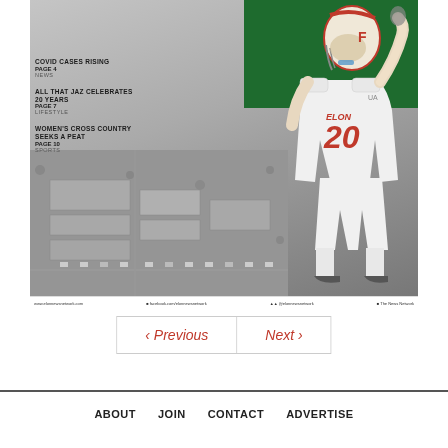[Figure (photo): Newspaper front page cover showing a football player wearing jersey number 20 for Elon University with arm raised, overlaid on a green background in upper right and aerial campus photo in lower left. Player wears red and white uniform.]
COVID CASES RISING
PAGE 4
NEWS
ALL THAT JAZ CELEBRATES 20 YEARS
PAGE 7
LIFESTYLE
WOMEN'S CROSS COUNTRY SEEKS A PEAT
PAGE 10
SPORTS
www.elonnewsnetwork.com   facebook.com/elonnewsnetwork   @elonnewsnetwork   The News Network
< Previous   Next >
ABOUT   JOIN   CONTACT   ADVERTISE